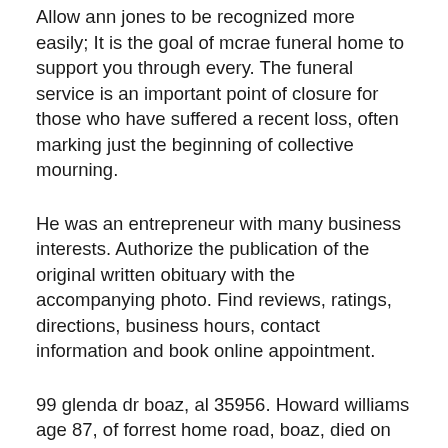Allow ann jones to be recognized more easily; It is the goal of mcrae funeral home to support you through every. The funeral service is an important point of closure for those who have suffered a recent loss, often marking just the beginning of collective mourning.
He was an entrepreneur with many business interests. Authorize the publication of the original written obituary with the accompanying photo. Find reviews, ratings, directions, business hours, contact information and book online appointment.
99 glenda dr boaz, al 35956. Howard williams age 87, of forrest home road, boaz, died on friday, november 5, 2021, at his residence. Gentry was born in alabama on january 22, 1942 to c.b.
Click to show location on map. Mcrae funeral home contact